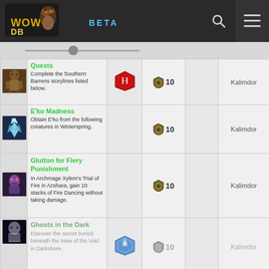WOWDB BETA
| Icon | Name/Description | Faction | Points | Category | Zone |
| --- | --- | --- | --- | --- | --- |
| [icon] | Quests
Complete the Southern Barrens storylines listed below. | Horde | 10 |  | Kalimdor |
| [icon] | E'ko Madness
Obtain E'ko from the following creatures in Winterspring. |  | 10 |  | Kalimdor |
| [icon] | Glutton for Fiery Punishment
In Archmage Xylem's Trial of Fire in Azshara, gain 10 stacks of Fire Dancing without taking damage. |  | 10 |  | Kalimdor |
| [icon] | Ghosts in the Dark
Discover the secret buried beneath the Maw of the Void in Darkshore. | Alliance | 10 |  | Kalimdor |